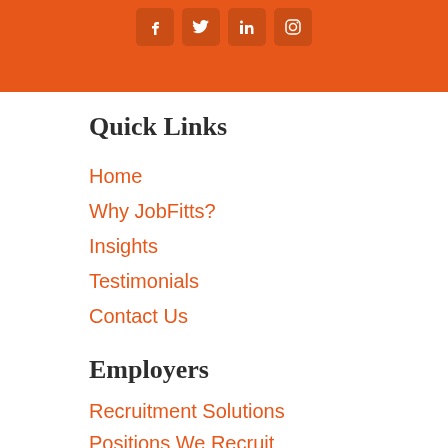[Figure (other): Orange banner with social media icons (Facebook, Twitter, LinkedIn, Instagram) shown as white icons on darker orange rounded squares]
Quick Links
Home
Why JobFitts?
Insights
Testimonials
Contact Us
Employers
Recruitment Solutions
Positions We Recruit